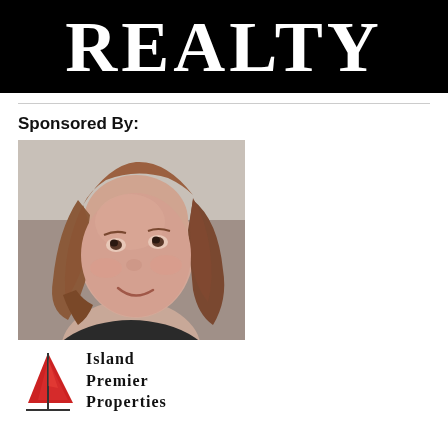[Figure (logo): REALTY text logo in white on black background banner]
Sponsored By:
[Figure (photo): Portrait photo of a young woman with long reddish-brown hair, smiling]
[Figure (logo): Island Premier Properties logo with red sail graphic and serif text reading ISLAND PREMIER PROPERTIES]